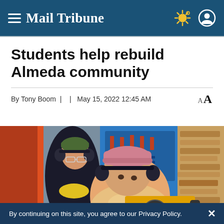Mail Tribune
Students help rebuild Almeda community
By Tony Boom  |    |  May 15, 2022 12:45 AM
[Figure (photo): Two students wearing ear protection working with a DeWalt power saw in a workshop setting with lumber racks and tools visible in the background.]
By continuing on this site, you agree to our Privacy Policy.